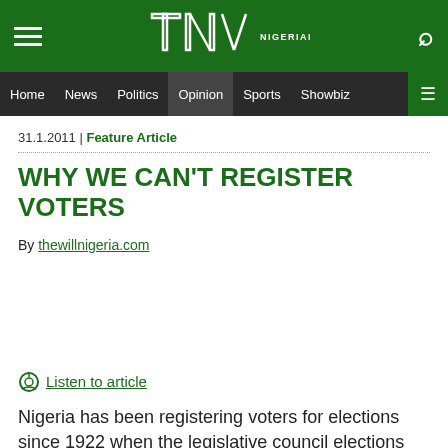The Nigerian Voice | Home | News | Politics | Opinion | Sports | Showbiz
31.1.2011 | Feature Article
WHY WE CAN'T REGISTER VOTERS
By thewillnigeria.com
Listen to article
Nigeria has been registering voters for elections since 1922 when the legislative council elections